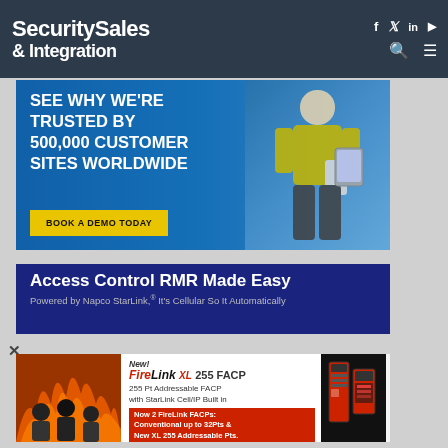Security Sales & Integration
[Figure (infographic): Advertisement: SEE WHY WE'RE TRUSTED BY 500,000 CUSTOMER SITES WORLDWIDE. BOOK A DEMO TODAY. Blue background with worker in yellow vest holding tablet.]
[Figure (infographic): Advertisement: Access Control RMR Made Easy. Powered by Napco StarLink, It's Cellular So It Automatically]
[Figure (infographic): Advertisement: New! FireLink XL 255 FACP. 255 Pt Addressable FACP with StarLink Cell/IP Built in. Now 2 FireLink FACPs: Conventional up to 32Pts & New XL 255 Addressable Pts.]